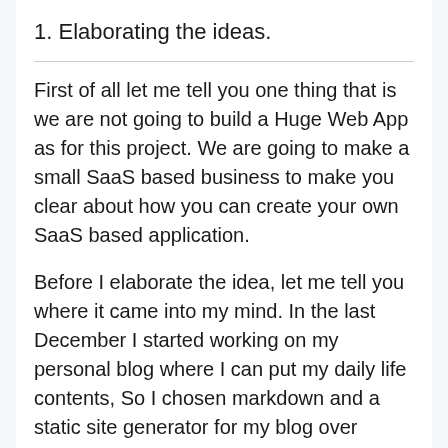1. Elaborating the ideas.
First of all let me tell you one thing that is we are not going to build a Huge Web App as for this project. We are going to make a small SaaS based business to make you clear about how you can create your own SaaS based application.
Before I elaborate the idea, let me tell you where it came into my mind. In the last December I started working on my personal blog where I can put my daily life contents, So I chosen markdown and a static site generator for my blog over WordPress or any other CMS.
But the difficult part is came when I